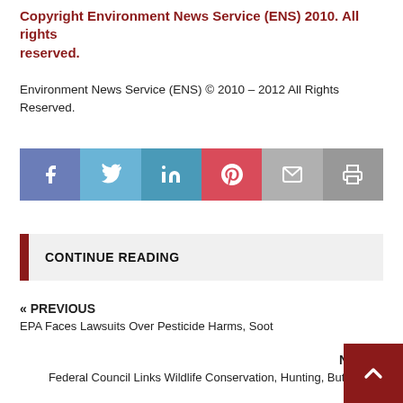Copyright Environment News Service (ENS) 2010. All rights reserved.
Environment News Service (ENS) © 2010 – 2012 All Rights Reserved.
[Figure (infographic): Social media share bar with 6 buttons: Facebook (blue-purple), Twitter (light blue), LinkedIn (blue), Pinterest (red), Email (light gray), Print (gray)]
CONTINUE READING
« PREVIOUS
EPA Faces Lawsuits Over Pesticide Harms, Soot
NEXT »
Federal Council Links Wildlife Conservation, Hunting, But Conflicts t